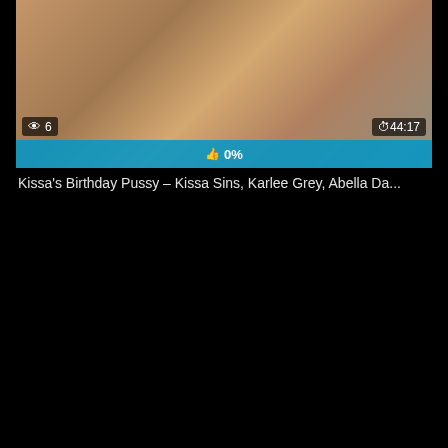[Figure (screenshot): Video thumbnail showing people on a couch with view count badge '6' and duration badge '44:17', and a blue progress bar showing '0%']
Kissa's Birthday Pussy – Kissa Sins, Karlee Grey, Abella Da...
[Figure (infographic): Row of social sharing buttons: Facebook, Twitter, Email, Pinterest, Tumblr (top row); Reddit, Blogger, WordPress, VK, More (bottom row); and a cyan scroll-to-top button]